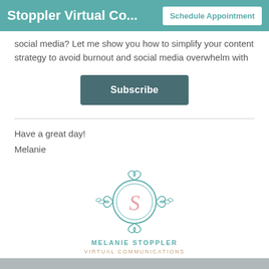Stoppler Virtual Co... | Schedule Appointment
social media? Let me show you how to simplify your content strategy to avoid burnout and social media overwhelm with
Subscribe
Have a great day!
Melanie
[Figure (logo): Melanie Stoppler Virtual Communications logo: ornate circular emblem with scrollwork and an 'S' monogram in pink, teal border, with text MELANIE STOPPLER VIRTUAL COMMUNICATIONS below]